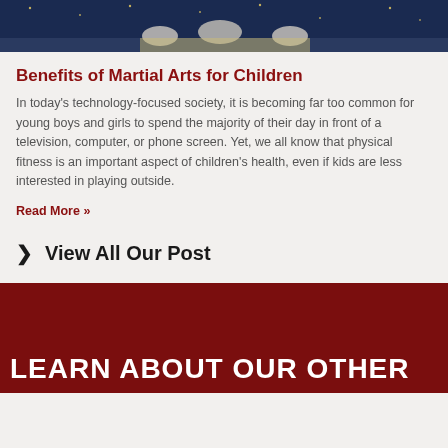[Figure (photo): Photo of children in martial arts uniforms (white gi), appearing to practice or perform at an event with a dark starry background]
Benefits of Martial Arts for Children
In today's technology-focused society, it is becoming far too common for young boys and girls to spend the majority of their day in front of a television, computer, or phone screen. Yet, we all know that physical fitness is an important aspect of children's health, even if kids are less interested in playing outside.
Read More »
❯  View All Our Post
LEARN ABOUT OUR OTHER